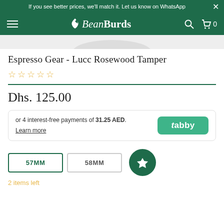If you see better prices, we'll match it. Let us know on WhatsApp
[Figure (logo): BeanBurds logo with bird icon on dark green navigation bar]
[Figure (photo): Product image area showing partial view of Espresso Gear Lucc Rosewood Tamper]
Espresso Gear - Lucc Rosewood Tamper
☆☆☆☆☆
Dhs. 125.00
or 4 interest-free payments of 31.25 AED. Learn more
57MM
58MM
2 items left